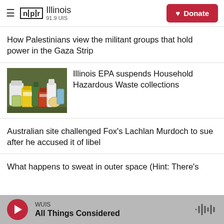NPR Illinois 91.9 UIS — Donate
How Palestinians view the militant groups that hold power in the Gaza Strip
[Figure (photo): Pile of household hazardous waste items including paint cans, bottles, and containers]
Illinois EPA suspends Household Hazardous Waste collections
Australian site challenged Fox's Lachlan Murdoch to sue after he accused it of libel
What happens to sweat in outer space (Hint: There's…
WUIS — All Things Considered